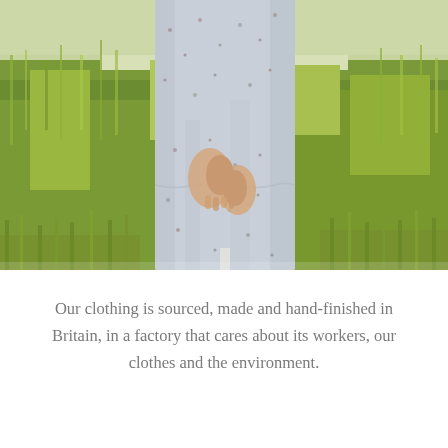[Figure (photo): A woman in a light blue floral midi dress standing in a lush green grass field, hands clasped together holding the skirt, photographed from waist down.]
Our clothing is sourced, made and hand-finished in Britain, in a factory that cares about its workers, our clothes and the environment.